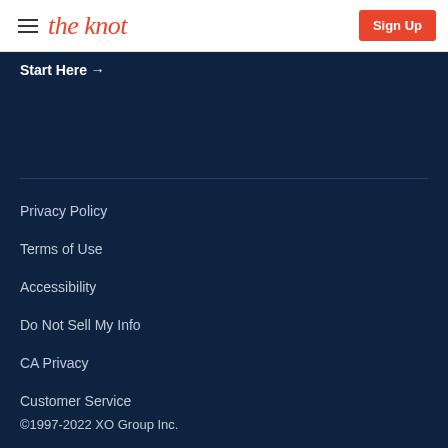the knot | Sign Up
Start Here →
Privacy Policy
Terms of Use
Accessibility
Do Not Sell My Info
CA Privacy
Customer Service
©1997-2022 XO Group Inc.